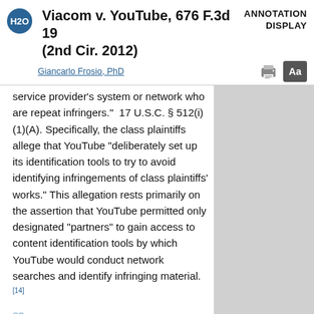Viacom v. YouTube, 676 F.3d 19 (2nd Cir. 2012)
ANNOTATION DISPLAY
Giancarlo Frosio, PhD
service provider's system or network who are repeat infringers.”  17 U.S.C. § 512(i)(1)(A). Specifically, the class plaintiffs allege that YouTube “deliberately set up its identification tools to try to avoid identifying infringements of class plaintiffs’ works.” This allegation rests primarily on the assertion that YouTube permitted only designated “partners” to gain access to content identification tools by which YouTube would conduct network searches and identify infringing material.[14]
83  Because the class plaintiffs challenge